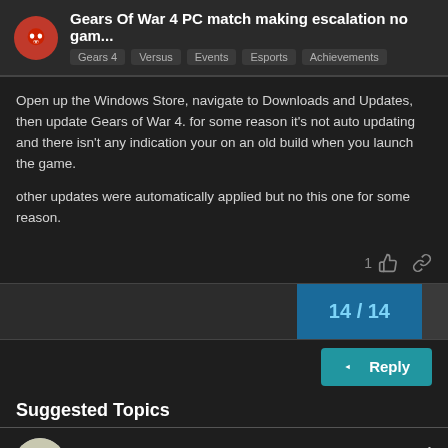Gears Of War 4 PC match making escalation no gam... | Gears 4 | Versus | Events | Esports | Achievements
Open up the Windows Store, navigate to Downloads and Updates, then update Gears of War 4. for some reason it's not auto updating and there isn't any indication your on an old build when you launch the game.

other updates were automatically applied but no this one for some reason.
1 [like] [link]
14 / 14
Reply
Suggested Topics
Need Gears 4 achievements partners! | Gears 4 | Achievements | 1 | 10h